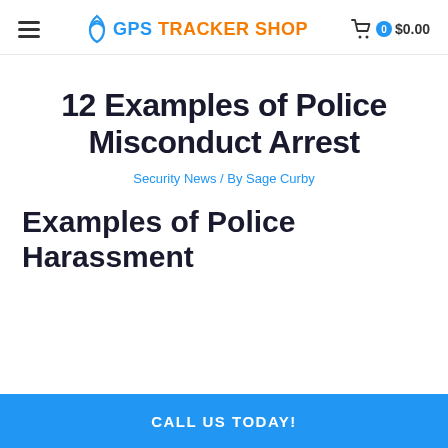GPS TRACKER SHOP | $0.00
12 Examples of Police Misconduct Arrest
Security News / By Sage Curby
Examples of Police Harassment
CALL US TODAY!